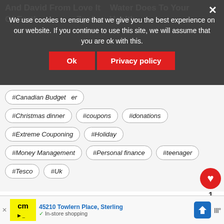And David From Love It   Water Does To Your  Of Earth...   Zgabor. Health
We use cookies to ensure that we give you the best experience on our website. If you continue to use this site, we will assume that you are ok with this.
#Canadian Budget #er
#Christmas dinner   #coupons   #donations
#Extreme Couponing   #Holiday
#Money Management   #Personal finance   #teenager
#Tesco   #Uk
← PREVIOUS
WHAT'S NEXT → How to get richer befor...
PF Weekly Grab a Brew
The Best Double-Crust
45210 Towlern Place, Sterling
In-store shopping